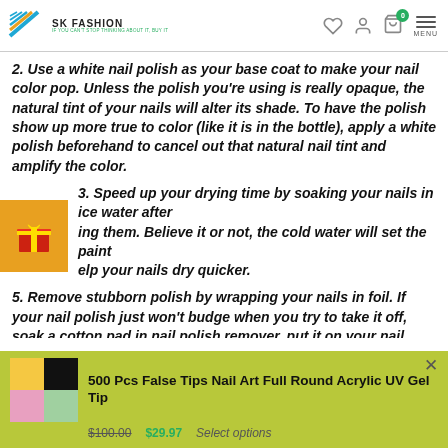SK FASHION — IF YOU CAN'T STOP THINKING ABOUT IT, BUY IT
2. Use a white nail polish as your base coat to make your nail color pop. Unless the polish you're using is really opaque, the natural tint of your nails will alter its shade. To have the polish show up more true to color (like it is in the bottle), apply a white polish beforehand to cancel out that natural nail tint and amplify the color.
3. Speed up your drying time by soaking your nails in ice water after ing them. Believe it or not, the cold water will set the paint elp your nails dry quicker.
5. Remove stubborn polish by wrapping your nails in foil. If your nail polish just won't budge when you try to take it off, soak a cotton pad in nail polish remover, put it on your nail, and wrap a piece of foil…
[Figure (screenshot): Ad banner for 500 Pcs False Tips Nail Art Full Round Acrylic UV Gel Tip with thumbnail image, old price $100.00, new price $29.97, and Select options button]